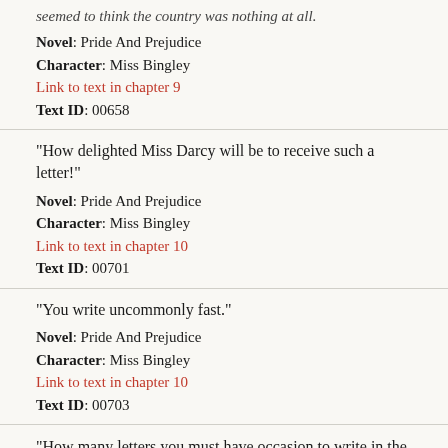seemed to think the country was nothing at all.
Novel: Pride And Prejudice
Character: Miss Bingley
Link to text in chapter 9
Text ID: 00658
“How delighted Miss Darcy will be to receive such a letter!”
Novel: Pride And Prejudice
Character: Miss Bingley
Link to text in chapter 10
Text ID: 00701
“You write uncommonly fast.”
Novel: Pride And Prejudice
Character: Miss Bingley
Link to text in chapter 10
Text ID: 00703
“How many letters you must have occasion to write in the course of a year! Letters of business, too! How odious I should think them!”
Novel: Pride And Prejudice